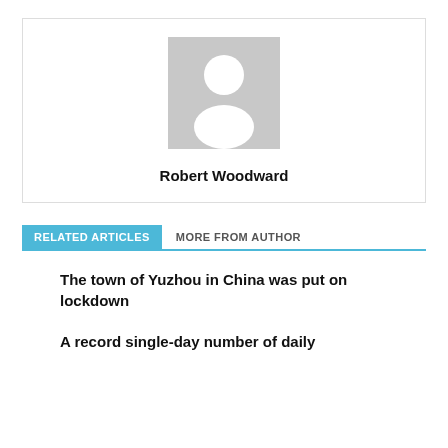[Figure (illustration): Generic author avatar placeholder — grey square with white silhouette of a person (head and shoulders)]
Robert Woodward
RELATED ARTICLES   MORE FROM AUTHOR
The town of Yuzhou in China was put on lockdown
A record single-day number of daily